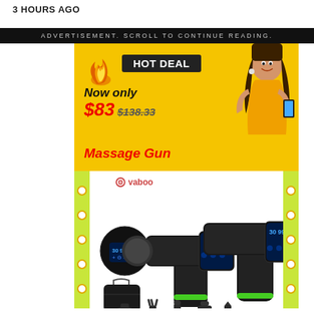3 HOURS AGO
ADVERTISEMENT. SCROLL TO CONTINUE READING.
[Figure (photo): Advertisement banner for a Vaboo Massage Gun. Yellow background with 'HOT DEAL' badge, price 'Now only $83 $138.33', product name 'Massage Gun' in red italic, woman photo on right side. Below: product images on white background with green lime dotted border, showing massage gun device, control panel, carrying case, and various attachment heads. Vaboo logo in top left.]